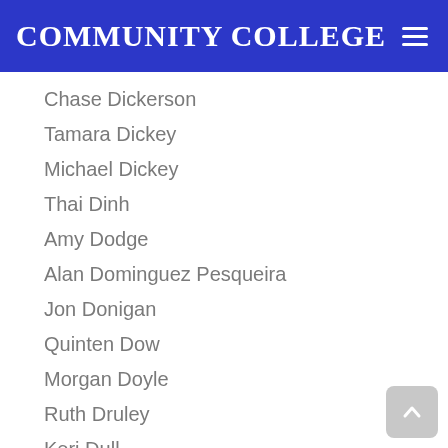Community College
Chase Dickerson
Tamara Dickey
Michael Dickey
Thai Dinh
Amy Dodge
Alan Dominguez Pesqueira
Jon Donigan
Quinten Dow
Morgan Doyle
Ruth Druley
Keri Dull
Kaelyn Duncan
Elizabeth Duncan
Abigail Durbin